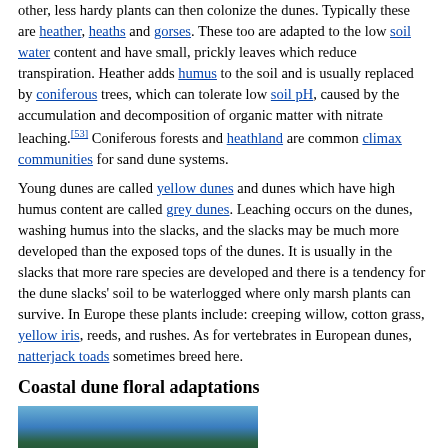other, less hardy plants can then colonize the dunes. Typically these are heather, heaths and gorses. These too are adapted to the low soil water content and have small, prickly leaves which reduce transpiration. Heather adds humus to the soil and is usually replaced by coniferous trees, which can tolerate low soil pH, caused by the accumulation and decomposition of organic matter with nitrate leaching.[53] Coniferous forests and heathland are common climax communities for sand dune systems.
Young dunes are called yellow dunes and dunes which have high humus content are called grey dunes. Leaching occurs on the dunes, washing humus into the slacks, and the slacks may be much more developed than the exposed tops of the dunes. It is usually in the slacks that more rare species are developed and there is a tendency for the dune slacks' soil to be waterlogged where only marsh plants can survive. In Europe these plants include: creeping willow, cotton grass, yellow iris, reeds, and rushes. As for vertebrates in European dunes, natterjack toads sometimes breed here.
Coastal dune floral adaptations
[Figure (photo): Photo of a coastal dune landscape with trees silhouetted against a blue sky]